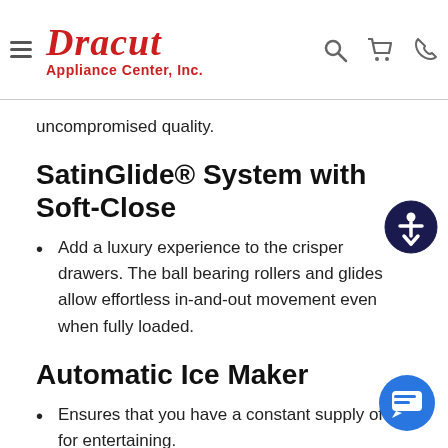Dracut Appliance Center, Inc.
uncompromised quality.
SatinGlide® System with Soft-Close
Add a luxury experience to the crisper drawers. The ball bearing rollers and glides allow effortless in-and-out movement even when fully loaded.
Automatic Ice Maker
Ensures that you have a constant supply of ice for entertaining.
Specifications